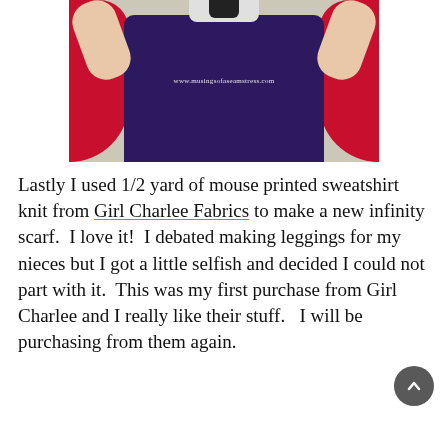[Figure (photo): Photo of a person wearing a navy blue top with a red cardigan/wrap, raising their arms. A white and black scarf or item is visible at the top. Watermark reads: www.musingsofaseamstress.com]
Lastly I used 1/2 yard of mouse printed sweatshirt knit from Girl Charlee Fabrics to make a new infinity scarf.  I love it!  I debated making leggings for my nieces but I got a little selfish and decided I could not part with it.  This was my first purchase from Girl Charlee and I really like their stuff.  I will be purchasing from them again.